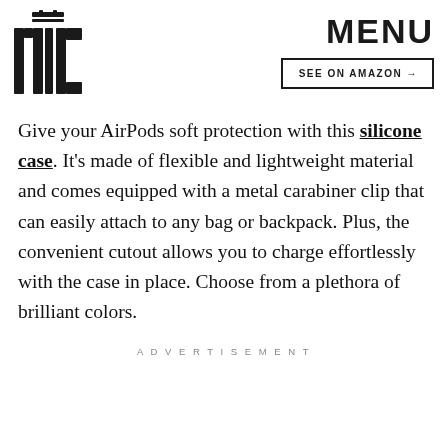[Figure (logo): Mic logo — stylized MIC letters in bold black with a small icon above]
MENU
SEE ON AMAZON →
Give your AirPods soft protection with this silicone case. It's made of flexible and lightweight material and comes equipped with a metal carabiner clip that can easily attach to any bag or backpack. Plus, the convenient cutout allows you to charge effortlessly with the case in place. Choose from a plethora of brilliant colors.
ADVERTISEMENT